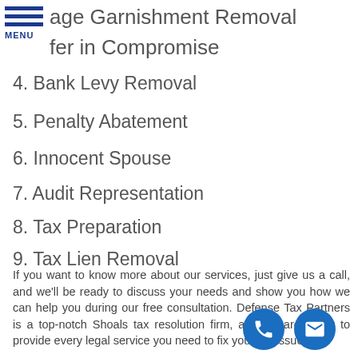age Garnishment Removal
fer in Compromise
4. Bank Levy Removal
5. Penalty Abatement
6. Innocent Spouse
7. Audit Representation
8. Tax Preparation
9. Tax Lien Removal
10. Passport Reinstatement
If you want to know more about our services, just give us a call, and we'll be ready to discuss your needs and show you how we can help you during our free consultation. Defense Tax Partners is a top-notch Shoals tax resolution firm, and we are ready to provide every legal service you need to fix your tax issues.